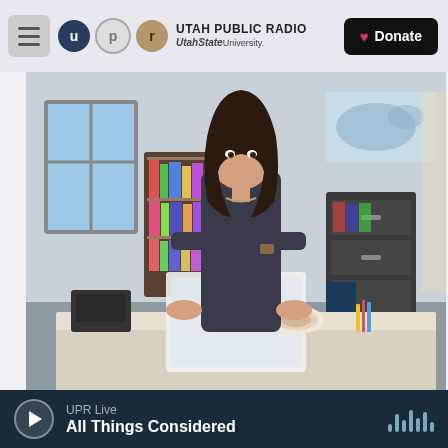UTAH PUBLIC RADIO — UtahState University. | Donate
[Figure (photo): Kaitlyn McCollum, a teacher, stands behind a desk in her classroom at Columbia Central High School in Tennessee. Bookshelves, a filing cabinet, a world map, and classroom materials are visible in the background.]
/ Stacy Kranitz For NPR  /  Stacy Kranitz For NPR
Kaitlyn McCollum teaches at Columbia Central High School in Tennessee. After being told her TEACH Grant paperwork was late, her grants were converted to loans. "I remember going out to the mailbox — I even opened it up at the mailbox — and sheer panic just set in," she says
UPR Live
All Things Considered